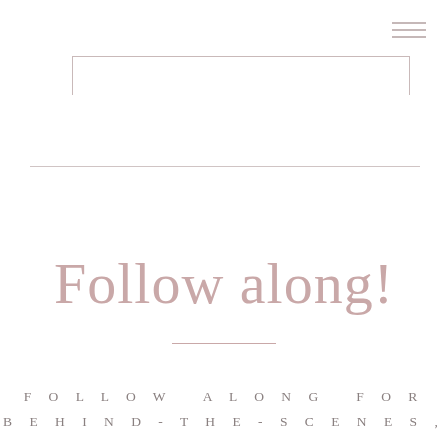[Figure (other): Hamburger menu icon with three horizontal lines in top right corner]
[Figure (other): Rectangular border box with top, left, and right sides only (no bottom border), positioned in the upper portion of the page]
[Figure (other): Thin horizontal dividing line across the page]
Follow along!
FOLLOW ALONG FOR BEHIND-THE-SCENES,